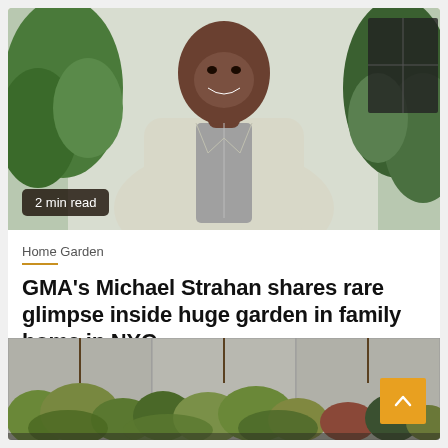[Figure (photo): A smiling man in a light grey zip-up jacket standing outdoors in front of greenery and a light-painted brick wall.]
2 min read
Home Garden
GMA's Michael Strahan shares rare glimpse inside huge garden in family home in NYC
19 hours ago   Tashina Mark
[Figure (photo): Close-up photo of lush garden plants including succulents and leafy green plants growing along a stone or concrete surface.]